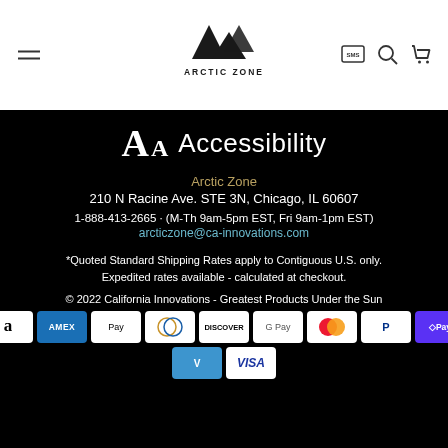[Figure (logo): Arctic Zone logo with mountain peaks icon and text ARCTIC ZONE]
Accessibility
Arctic Zone
210 N Racine Ave. STE 3N, Chicago, IL 60607
1-888-413-2665 · (M-Th 9am-5pm EST, Fri 9am-1pm EST)
arcticzone@ca-innovations.com
*Quoted Standard Shipping Rates apply to Contiguous U.S. only. Expedited rates available - calculated at checkout.
© 2022 California Innovations - Greatest Products Under the Sun
[Figure (other): Payment method icons: Amazon, American Express, Apple Pay, Diners Club, Discover, Google Pay, Mastercard, PayPal, Shop Pay, Venmo, Visa]